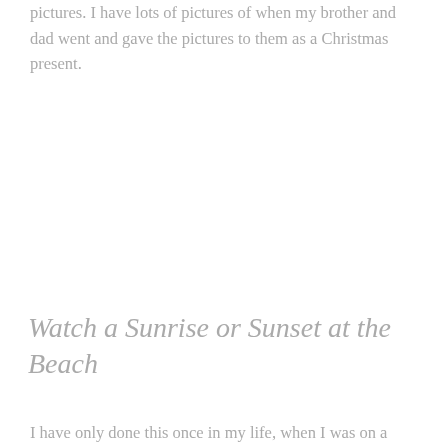pictures. I have lots of pictures of when my brother and dad went and gave the pictures to them as a Christmas present.
Watch a Sunrise or Sunset at the Beach
I have only done this once in my life, when I was on a